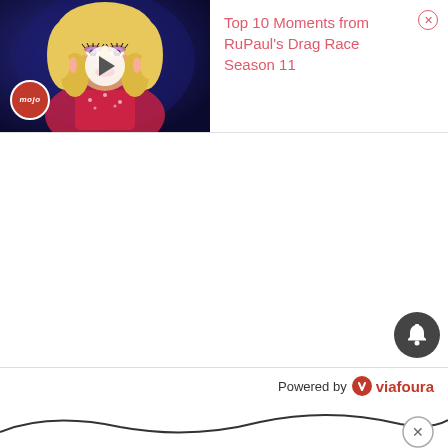[Figure (screenshot): Video thumbnail showing a drag performer with blonde curly hair and glamorous makeup, with a WatchMojo logo badge and a play button overlay]
Top 10 Moments from RuPaul's Drag Race Season 11
[Figure (infographic): Bell notification button (dark circle with bell icon) in bottom right area]
Powered by viafoura
[Figure (infographic): Wavy decorative line at the bottom of the page with a close (X) button circle]